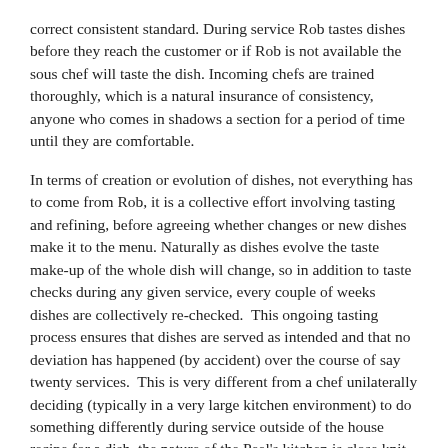correct consistent standard. During service Rob tastes dishes before they reach the customer or if Rob is not available the sous chef will taste the dish. Incoming chefs are trained thoroughly, which is a natural insurance of consistency, anyone who comes in shadows a section for a period of time until they are comfortable.
In terms of creation or evolution of dishes, not everything has to come from Rob, it is a collective effort involving tasting and refining, before agreeing whether changes or new dishes make it to the menu. Naturally as dishes evolve the taste make-up of the whole dish will change, so in addition to taste checks during any given service, every couple of weeks dishes are collectively re-checked.  This ongoing tasting process ensures that dishes are served as intended and that no deviation has happened (by accident) over the course of say twenty services.  This is very different from a chef unilaterally deciding (typically in a very large kitchen environment) to do something differently during service outside of the house recipe for a dish, the nature of the Peel's kitchen is close knit and the value add of each chef clearly visible from front to back of the kitchen, so such an instance is ruled out.